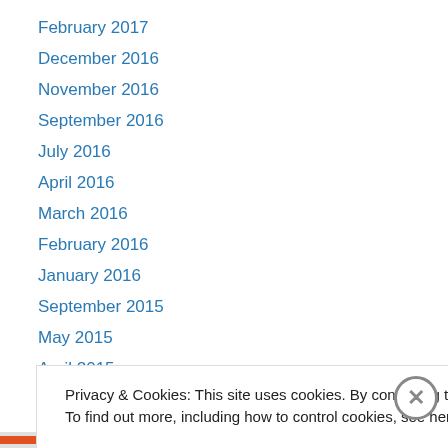February 2017
December 2016
November 2016
September 2016
July 2016
April 2016
March 2016
February 2016
January 2016
September 2015
May 2015
April 2015
February 2015
Privacy & Cookies: This site uses cookies. By continuing to use this website, you agree to their use.
To find out more, including how to control cookies, see here: Cookie Policy
Close and accept